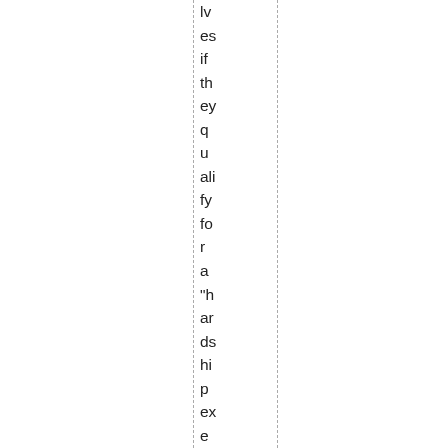lves if they qualify for a "hardship exemption." An individ